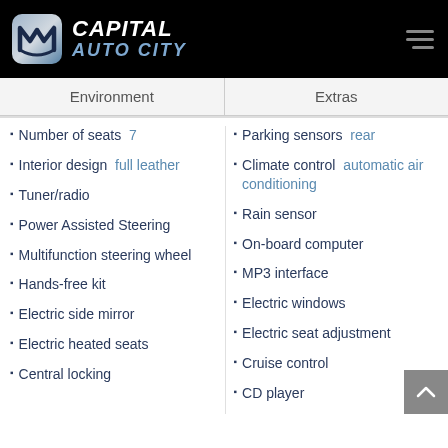Capital Auto City
| Environment | Extras |
| --- | --- |
Number of seats  7
Interior design  full leather
Tuner/radio
Power Assisted Steering
Multifunction steering wheel
Hands-free kit
Electric side mirror
Electric heated seats
Central locking
Parking sensors  rear
Climate control  automatic air conditioning
Rain sensor
On-board computer
MP3 interface
Electric windows
Electric seat adjustment
Cruise control
CD player